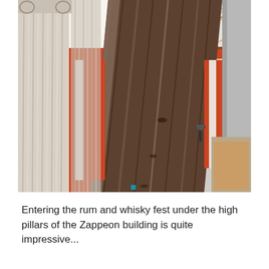[Figure (photo): An upward-angle photograph of tall classical pillars/columns inside the Zappeon building. A large dark wooden or stone column dominates the center-right of the frame. To the left is a fluted classical column with an Ionic capital. The background shows ornately decorated ceiling with circular patterns and orange/red walls with white pilasters. A small wall-mounted lamp is visible on the right side.]
Entering the rum and whisky fest under the high pillars of the Zappeon building is quite impressive...